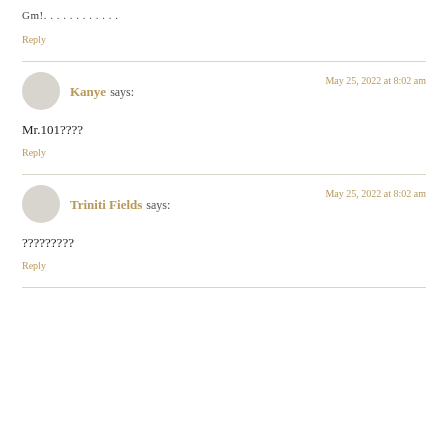Gm!. . . . . . . . . . . .
Reply
Kanye says:
May 25, 2022 at 8:02 am
Mr.101????
Reply
Triniti Fields says:
May 25, 2022 at 8:02 am
?????????
Reply